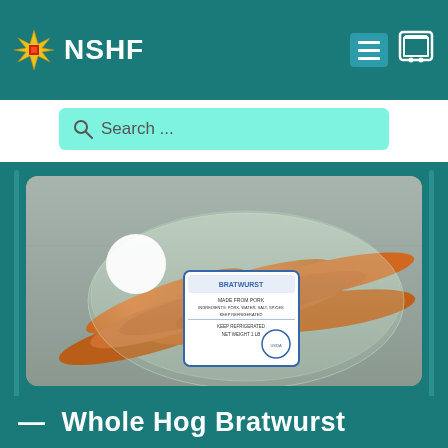NSHF
Search ...
[Figure (photo): Packaged Whole Hog Bratwurst sausages in vacuum-sealed plastic wrap with a BRATWURST label showing product information. NET WEIGHT 1 LB. A white circle visible in upper left of packaging area.]
— Whole Hog Bratwurst